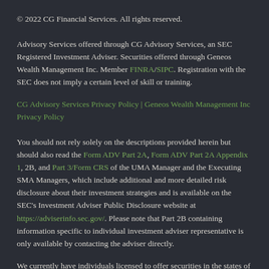© 2022 CG Financial Services. All rights reserved.
Advisory Services offered through CG Advisory Services, an SEC Registered Investment Adviser. Securities offered through Geneos Wealth Management Inc. Member FINRA/SIPC. Registration with the SEC does not imply a certain level of skill or training.
CG Advisory Services Privacy Policy | Geneos Wealth Management Inc Privacy Policy
You should not rely solely on the descriptions provided herein but should also read the Form ADV Part 2A, Form ADV Part 2A Appendix 1, 2B, and Part 3/Form CRS of the UMA Manager and the Executing SMA Managers, which include additional and more detailed risk disclosure about their investment strategies and is available on the SEC's Investment Adviser Public Disclosure website at https://adviserinfo.sec.gov/. Please note that Part 2B containing information specific to individual investment adviser representative is only available by contacting the adviser directly.
We currently have individuals licensed to offer securities in the states of